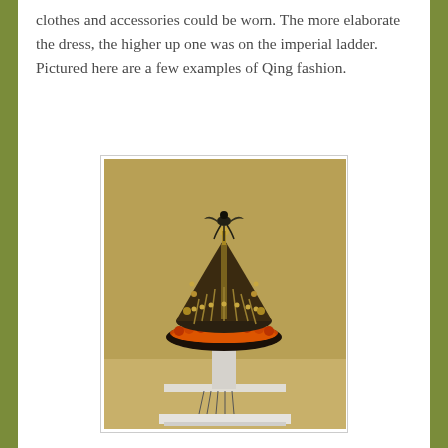clothes and accessories could be worn. The more elaborate the dress, the higher up one was on the imperial ladder. Pictured here are a few examples of Qing fashion.
[Figure (photo): A photograph of an elaborate Qing dynasty ceremonial crown/headdress displayed on a stand. The crown is ornately decorated with metalwork, beads, and figurines including a bird at the top. It has an orange/red fur trim at the base and sits on a white museum display pedestal. The background is a warm golden-tan color.]